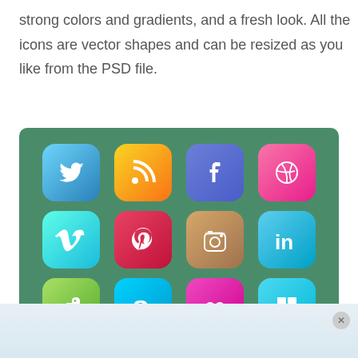strong colors and gradients, and a fresh look. All the icons are vector shapes and can be resized as you like from the PSD file.
[Figure (illustration): Green background panel showing a 4x3 grid of social media app icons: Twitter (blue gradient), RSS (orange gradient), Facebook (blue), Dribbble (pink), Vimeo (cyan), Pinterest (red), Instagram (brown gradient), LinkedIn (cyan), Evernote (green), Skype (cyan), Flickr (magenta), Windows (cyan). Bottom row partially visible.]
[Figure (illustration): Advertisement bar at the bottom of the page with a light blue-grey gradient background and a close (X) button in the top right corner.]